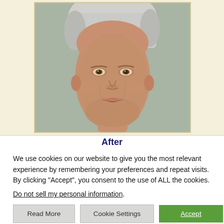[Figure (photo): Portrait photograph of a middle-aged woman with short gray/white hair facing forward, against a neutral gray-green background. The image is partially cropped at the top. Labeled as an 'After' photo in a before/after medical or cosmetic comparison.]
After
We use cookies on our website to give you the most relevant experience by remembering your preferences and repeat visits. By clicking “Accept”, you consent to the use of ALL the cookies.
Do not sell my personal information.